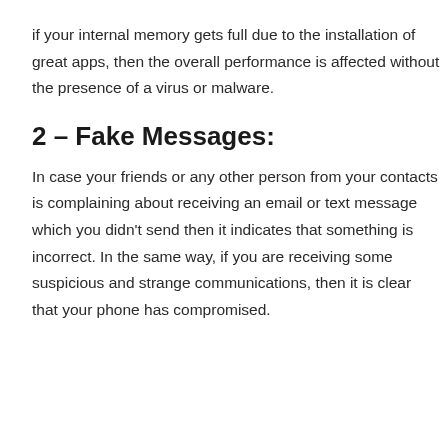if your internal memory gets full due to the installation of great apps, then the overall performance is affected without the presence of a virus or malware.
2 – Fake Messages:
In case your friends or any other person from your contacts is complaining about receiving an email or text message which you didn't send then it indicates that something is incorrect. In the same way, if you are receiving some suspicious and strange communications, then it is clear that your phone has compromised.